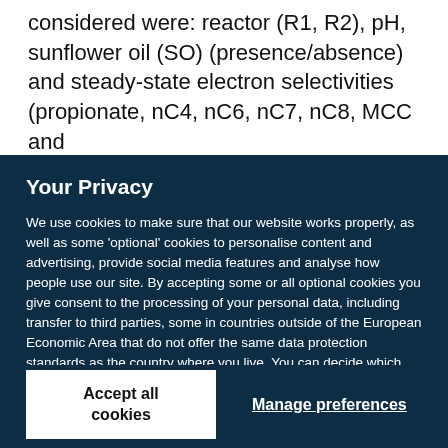considered were: reactor (R1, R2), pH, sunflower oil (SO) (presence/absence) and steady-state electron selectivities (propionate, nC4, nC6, nC7, nC8, MCC and
Your Privacy
We use cookies to make sure that our website works properly, as well as some 'optional' cookies to personalise content and advertising, provide social media features and analyse how people use our site. By accepting some or all optional cookies you give consent to the processing of your personal data, including transfer to third parties, some in countries outside of the European Economic Area that do not offer the same data protection standards as the country where you live. You can decide which optional cookies to accept by clicking on 'Manage Settings', where you can also find more information about how your personal data is processed. Further information can be found in our privacy policy.
Accept all cookies
Manage preferences